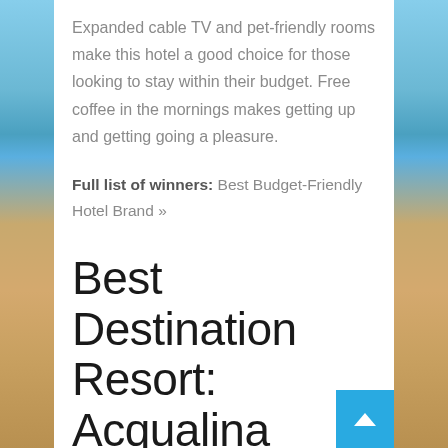Expanded cable TV and pet-friendly rooms make this hotel a good choice for those looking to stay within their budget. Free coffee in the mornings makes getting up and getting going a pleasure.
Full list of winners: Best Budget-Friendly Hotel Brand »
Best Destination Resort: Acqualina Resort & Spa in